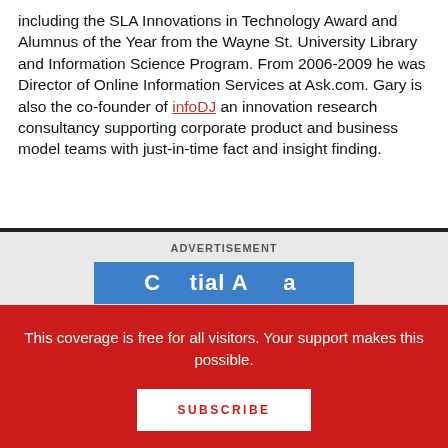including the SLA Innovations in Technology Award and Alumnus of the Year from the Wayne St. University Library and Information Science Program. From 2006-2009 he was Director of Online Information Services at Ask.com. Gary is also the co-founder of infoDJ an innovation research consultancy supporting corporate product and business model teams with just-in-time fact and insight finding.
ADVERTISEMENT
[Figure (other): Advertisement banner with blue background showing partial text]
This coverage is free for all visitors. Your support makes this possible.
SUBSCRIBE